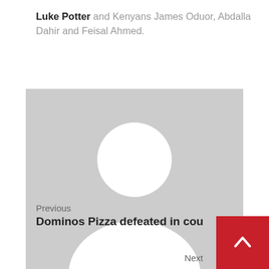Luke Potter and Kenyans James Oduor, Abdalla Dahir and Feisal Ahmed.
[Figure (illustration): Generic user avatar placeholder image — grey square with white silhouette of a person (head circle and shoulders)]
See author's posts
Previous
Dominos Pizza defeated in court over ap
Next